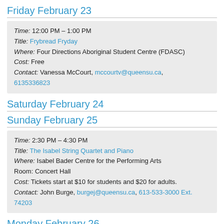Friday February 23
Time: 12:00 PM – 1:00 PM
Title: Frybread Fryday
Where: Four Directions Aboriginal Student Centre (FDASC)
Cost: Free
Contact: Vanessa McCourt, mccourtv@queensu.ca, 6135336823
Saturday February 24
Sunday February 25
Time: 2:30 PM – 4:30 PM
Title: The Isabel String Quartet and Piano
Where: Isabel Bader Centre for the Performing Arts
Room: Concert Hall
Cost: Tickets start at $10 for students and $20 for adults.
Contact: John Burge, burgej@queensu.ca, 613-533-3000 Ext. 74203
Monday February 26